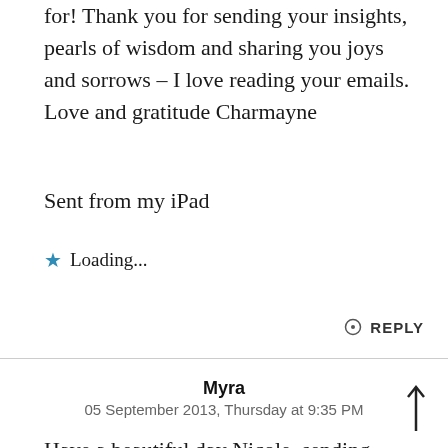for! Thank you for sending your insights, pearls of wisdom and sharing you joys and sorrows – I love reading your emails. Love and gratitude Charmayne
Sent from my iPad
★ Loading...
🔍 REPLY
Myra
05 September 2013, Thursday at 9:35 PM
Have a beautiful day Nicole, sending you out wishes for a year full of wonderful healing, deep loving and lots of nurturing xx